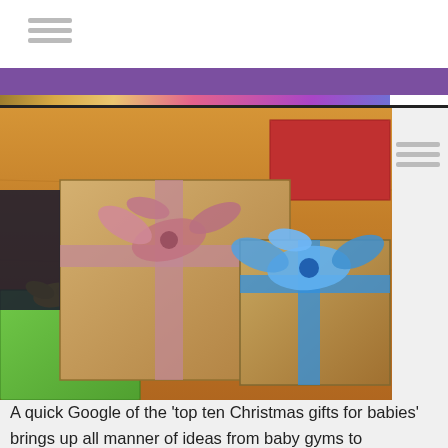Navigation menu lines / website header bar
[Figure (photo): Website header with purple navigation bar and colorful background photo of Christmas gifts/flowers]
[Figure (photo): Photo of wrapped Christmas gift boxes on a wooden floor — kraft paper boxes with pink/mauve ribbon bow and blue ribbon bow, green box with yellow bow]
A quick Google of the ‘top ten Christmas gifts for babies’ brings up all manner of ideas from baby gyms to personalised sleep suits. But what do newborn babies really want for Christmas? The answer is really not a lot. Newborn babies have needs,